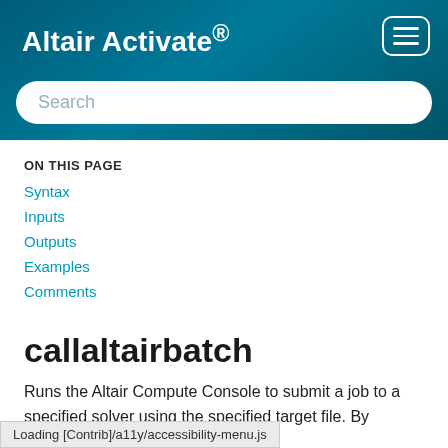Altair Activate®
[Figure (other): Hamburger menu button icon (three horizontal lines in a rounded rectangle border)]
Search
ON THIS PAGE
Syntax
Inputs
Outputs
Examples
Comments
callaltairbatch
Runs the Altair Compute Console to submit a job to a specified solver using the specified target file. By
hronously and the
Loading [Contrib]/a11y/accessibility-menu.js